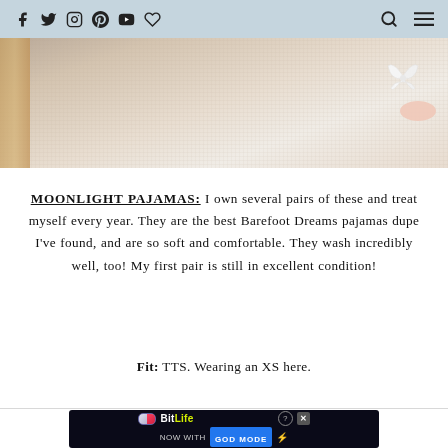Navigation bar with social media icons (Facebook, Twitter, Instagram, Pinterest, YouTube, favorites) and search/menu icons
[Figure (photo): Partial photo of fabric/textile background in beige/cream tones with a hand holding a white bow in the upper right corner]
MOONLIGHT PAJAMAS: I own several pairs of these and treat myself every year. They are the best Barefoot Dreams pajamas dupe I've found, and are so soft and comfortable. They wash incredibly well, too! My first pair is still in excellent condition!
Fit: TTS. Wearing an XS here.
[Figure (screenshot): BitLife advertisement banner — 'BitLife NOW WITH GOD MODE' with game-style graphics on dark background]